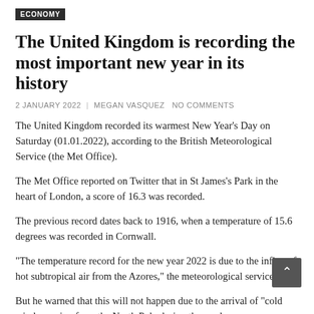ECONOMY
The United Kingdom is recording the most important new year in its history
2 JANUARY 2022  |  MEGAN VASQUEZ   NO COMMENTS
The United Kingdom recorded its warmest New Year’s Day on Saturday (01.01.2022), according to the British Meteorological Service (the Met Office).
The Met Office reported on Twitter that in St James’s Park in the heart of London, a score of 16.3 was recorded.
The previous record dates back to 1916, when a temperature of 15.6 degrees was recorded in Cornwall.
“The temperature record for the new year 2022 is due to the influx of hot subtropical air from the Azores,” the meteorological service said.
But he warned that this will not happen due to the arrival of “cold winds coming from the North Pole during the week,